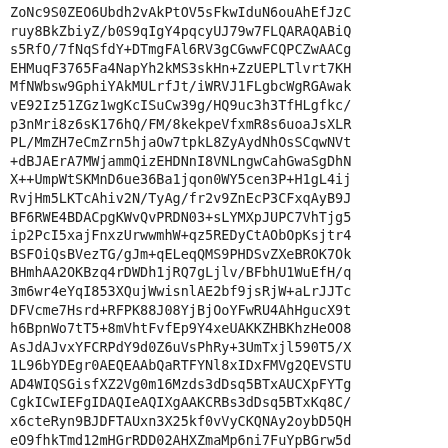ZoNc9S0ZEO6Ubdh2vAkPtOV5sFkwIduN6ouAhEfJzC
ruy8BkZbiyZ/b0S9qIgY4pqcyUJ79w7FLQARAQABiQ
s5RfO/7fNqSfdY+DTmgFAl6RV3gCGwwFCQPCZwAACg
EHMuqF3765Fa4NapYh2kMS3skHn+ZzUEPLTlvrt7KH
MfNWbsw9GphiYAkMULrfJt/iWRVJ1FLgbcWgRGAwak
vE92Iz51ZGz1wgKcISuCw39g/HQ9uc3h3TfHLgfkc/
p3nMri8z6sK176hQ/FM/8kekpeVfxmR8s6uoaJsXLR
PL/MmZH7eCmZrn5hjaOw7tpkL8ZyAydNhOsSCqwNVt
+dBJAErA7MWjammQizEHDNnI8VNLngwCahGwaSgDhN
X++UmpWtSKMnD6ue36Ba1jqon0WY5cen3P+H1gL4ij
RvjHm5LKTcAhiv2N/TyAg/fr2v9ZnEcP3CFxqAyB9J
BF6RWE4BDACpgKWvQvPRDN03+sLYMXpJUPC7VhTjg5
ip2PcI5xajFnxzUrwwmhW+qz5REDyCtAObOpKsjtr4
BSFOiQsBVezTG/gJm+qELeqQMS9PHDSvZXeBROK7Ok
BHmhAA2OKBzq4rDWDh1jRQ7gLjlv/BFbhU1WuEfH/q
3m6wr4eYqI853XQujWwisnlAE2bf9jsRjW+aLrJJTc
DFVcme7Hsrd+RFPK88J08YjBjOoYFwRU4AhHgucX9t
h6BpnWo7tT5+8mVhtFvfEp9Y4xeUAKKZHBKhzHeOO8
AsJdAJvxYFCRPdY9d0Z6uVsPhRy+3UmTxjl590T5/X
1L96bYDEgr0AEQEAAbQaRTFYNl8xIDxFMVg2QEVSTU
AD4WIQSGisfXZ2Vg0m16Mzds3dDsq5BTxAUCXpFYTg
CgkICwIEFgIDAQIeAQIXgAAKCRBs3dDsq5BTxKq8C/
x6cteRyn9BJDFTAUxn3X25kf0vVyCKQNAy2oybD5QH
eO9fhkTmd12mHGrRDD02AHXZmaMp6ni7FuYpBGrw5d
6X+2eFhUpvh+yPB7P7HwiPwzdr0dBq3xF0yE0Vz+na